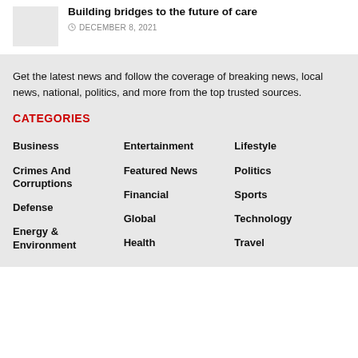Building bridges to the future of care
DECEMBER 8, 2021
Get the latest news and follow the coverage of breaking news, local news, national, politics, and more from the top trusted sources.
CATEGORIES
Business
Crimes And Corruptions
Defense
Energy & Environment
Entertainment
Featured News
Financial
Global
Health
Lifestyle
Politics
Sports
Technology
Travel